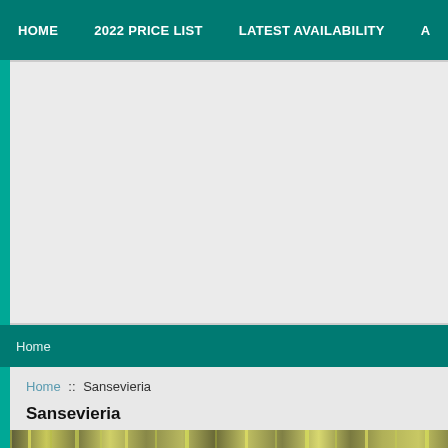HOME  2022 PRICE LIST  LATEST AVAILABILITY  A
[Figure (other): Large banner advertisement area, light gray background, no visible content]
Home
Home :: Sansevieria
Sansevieria
[Figure (photo): Horizontal strip photo of Sansevieria plants showing green and yellow striped leaves]